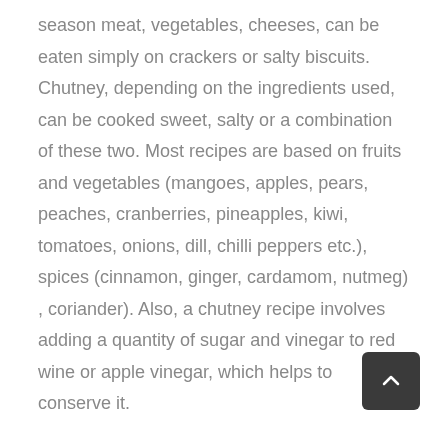season meat, vegetables, cheeses, can be eaten simply on crackers or salty biscuits. Chutney, depending on the ingredients used, can be cooked sweet, salty or a combination of these two. Most recipes are based on fruits and vegetables (mangoes, apples, pears, peaches, cranberries, pineapples, kiwi, tomatoes, onions, dill, chilli peppers etc.), spices (cinnamon, ginger, cardamom, nutmeg) , coriander). Also, a chutney recipe involves adding a quantity of sugar and vinegar to red wine or apple vinegar, which helps to conserve it.
Regarding our chutney recipe, we did not add either